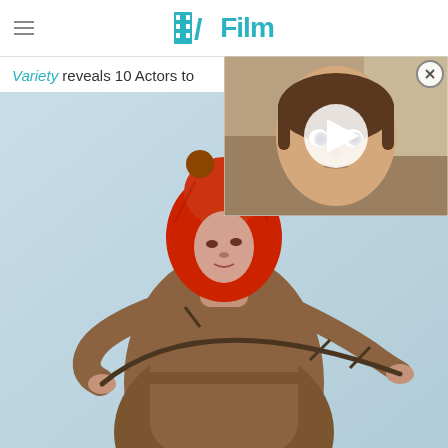/Film
Variety reveals 10 Actors to
[Figure (photo): Video thumbnail showing a young boy with short brown hair, serious expression, overlaid with a white play button triangle. Appears to be a film or TV screenshot.]
[Figure (photo): A woman in a brown furry costume dress holding a stick/branch, wearing a red hooded hat with pom-poms on a light blue background.]